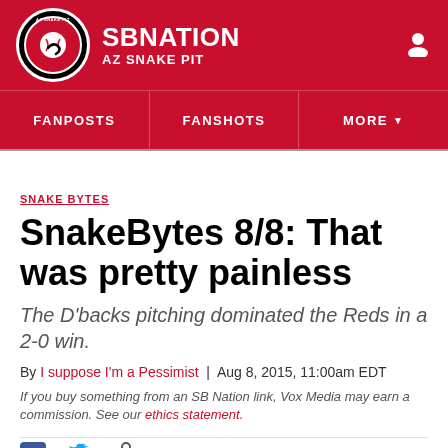SB NATION | AZ SNAKE PIT
FANPOSTS | FANSHOTS | MORE
SNAKE BYTES
SnakeBytes 8/8: That was pretty painless
The D'backs pitching dominated the Reds in a 2-0 win.
By I suppose I'm a Pessimist | Aug 8, 2015, 11:00am EDT
If you buy something from an SB Nation link, Vox Media may earn a commission. See our ethics statement.